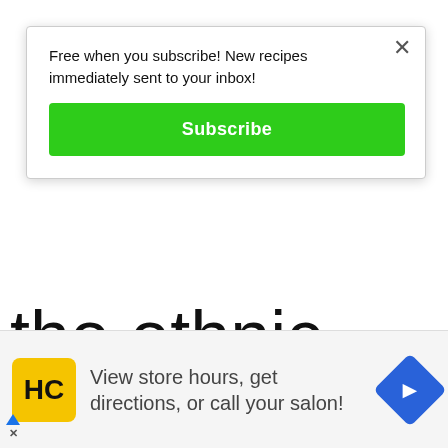the ethnic section of a grocery store too. These get a Two thumbs up from all
[Figure (screenshot): Email subscription popup with green Subscribe button and close X button. Text reads: Free when you subscribe! New recipes immediately sent to your inbox!]
[Figure (screenshot): Advertisement banner showing HC logo (yellow square with black HC text), text 'View store hours, get directions, or call your salon!', and a blue diamond navigation icon with right-pointing arrow.]